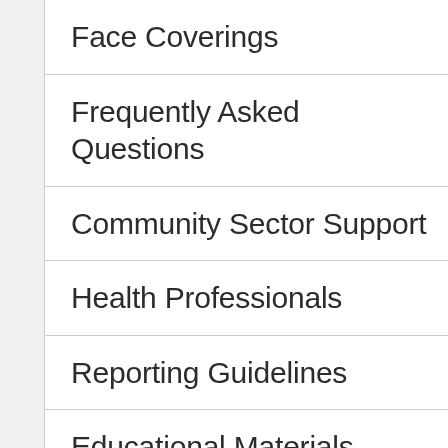Face Coverings
Frequently Asked Questions
Community Sector Support
Health Professionals
Reporting Guidelines
Educational Materials
Information in Other Languages